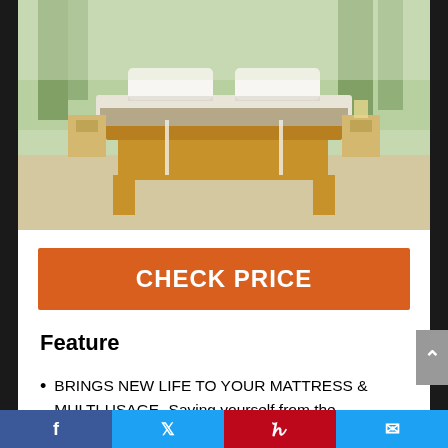[Figure (photo): Photograph of a wooden bed frame with white mattress topper and two pillows, in a bright room with trees visible through window]
CHECK PRICE
Feature
BRINGS NEW LIFE TO YOUR MATTRESS & MULTI-USAGE- Saving yourself from the uncomfortable
Facebook | Twitter | Pinterest | Email